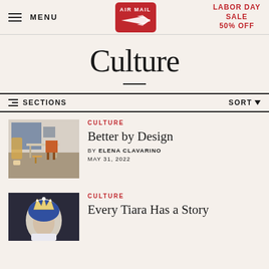MENU | AIR MAIL | LABOR DAY SALE 50% OFF
Culture
Sections | Sort
CULTURE
Better by Design
BY ELENA CLAVARINO
MAY 31, 2022
CULTURE
Every Tiara Has a Story